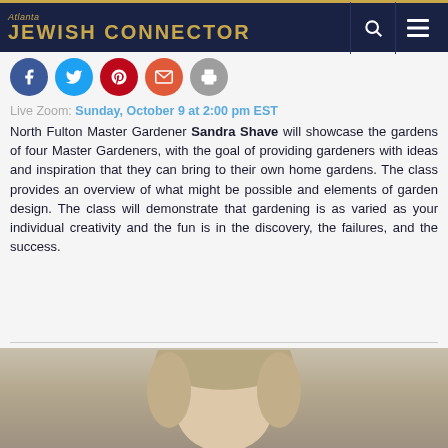Atlanta JEWISH CONNECTOR
[Figure (screenshot): Social media sharing icons: Facebook (blue), Twitter (light blue), Pinterest (red), Email (orange-red), Print (gray)]
Live Zoom: Sunday, October 9 at 2:00 pm EST
North Fulton Master Gardener Sandra Shave will showcase the gardens of four Master Gardeners, with the goal of providing gardeners with ideas and inspiration that they can bring to their own home gardens. The class provides an overview of what might be possible and elements of garden design. The class will demonstrate that gardening is as varied as your individual creativity and the fun is in the discovery, the failures, and the success.
[Figure (photo): Partial photo of a person with blonde/gray hair, cropped at the bottom of the page]